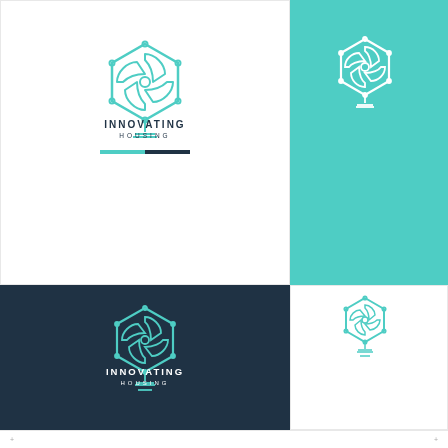[Figure (logo): Innovating Housing logo on white background - top left quadrant. Hexagonal pinwheel/brain icon combined with lightbulb in teal, text INNOVATING HOUSING in dark navy, teal and navy divider bar below.]
[Figure (logo): Innovating Housing logo icon only on teal background - top right quadrant. White hexagonal pinwheel/brain icon combined with lightbulb.]
[Figure (logo): Innovating Housing logo on dark navy background - bottom left quadrant. Teal hexagonal pinwheel/brain icon combined with lightbulb, text INNOVATING HOUSING in white.]
[Figure (logo): Innovating Housing logo icon only on white background - bottom right quadrant. Teal hexagonal pinwheel/brain icon combined with lightbulb, small size.]